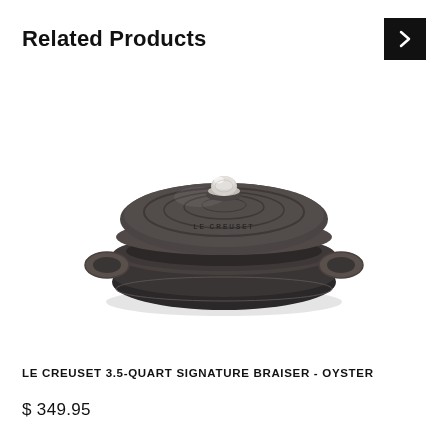Related Products
[Figure (photo): Le Creuset 3.5-Quart Signature Braiser in Oyster color — a round, dark grey/oyster enameled cast iron braiser with two loop handles and a fitted domed lid topped with a stainless steel knob, photographed from a slightly elevated angle on a white background.]
LE CREUSET 3.5-QUART SIGNATURE BRAISER - OYSTER
$ 349.95